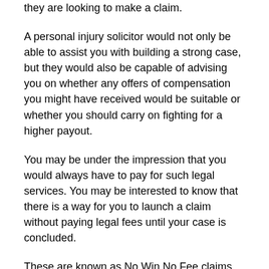they are looking to make a claim.
A personal injury solicitor would not only be able to assist you with building a strong case, but they would also be capable of advising you on whether any offers of compensation you might have received would be suitable or whether you should carry on fighting for a higher payout.
You may be under the impression that you would always have to pay for such legal services. You may be interested to know that there is a way for you to launch a claim without paying legal fees until your case is concluded.
These are known as No Win No Fee claims. You would, initially, be required to sign an agreement, often referred to as a Conditional Fee Agreement. The purpose of this is to give you the financial security and confidence to pursue a claim. You will not be asked to pay any fees upfront or